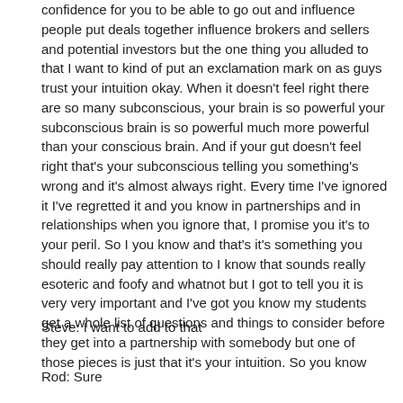confidence for you to be able to go out and influence people put deals together influence brokers and sellers and potential investors but the one thing you alluded to that I want to kind of put an exclamation mark on as guys trust your intuition okay. When it doesn't feel right there are so many subconscious, your brain is so powerful your subconscious brain is so powerful much more powerful than your conscious brain. And if your gut doesn't feel right that's your subconscious telling you something's wrong and it's almost always right. Every time I've ignored it I've regretted it and you know in partnerships and in relationships when you ignore that, I promise you it's to your peril. So I you know and that's it's something you should really pay attention to I know that sounds really esoteric and foofy and whatnot but I got to tell you it is very very important and I've got you know my students get a whole list of questions and things to consider before they get into a partnership with somebody but one of those pieces is just that it's your intuition. So you know
Steve: I want to add to that
Rod: Sure